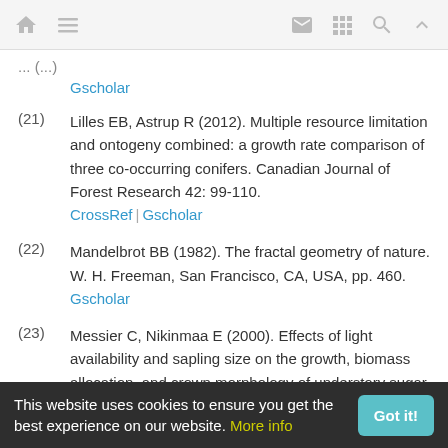[Navigation bar with home, menu, mail, grid, search, up icons]
... (truncated link)
Gscholar
(21) Lilles EB, Astrup R (2012). Multiple resource limitation and ontogeny combined: a growth rate comparison of three co-occurring conifers. Canadian Journal of Forest Research 42: 99-110. CrossRef | Gscholar
(22) Mandelbrot BB (1982). The fractal geometry of nature. W. H. Freeman, San Francisco, CA, USA, pp. 460. Gscholar
(23) Messier C, Nikinmaa E (2000). Effects of light availability and sapling size on the growth, biomass allocation, and crown morphology of understory sugar...
This website uses cookies to ensure you get the best experience on our website. More info   Got it!